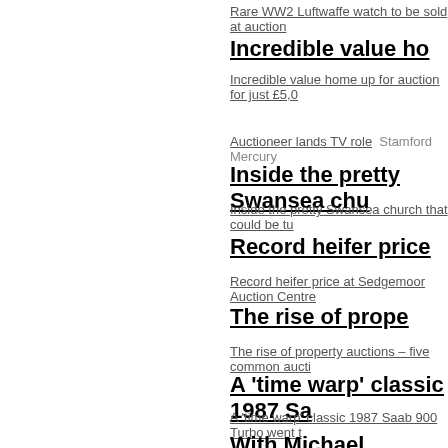Rare WW2 Luftwaffe watch to be sold at auction
Incredible value ho
Incredible value home up for auction for just £5,0
Auctioneer lands TV role   Stamford Mercury
Inside the pretty Swansea chu
Inside the pretty Swansea church that could be tu
Record heifer price
Record heifer price at Sedgemoor Auction Centre
The rise of prope
The rise of property auctions – five common aucti
A 'time warp' classic 1987 Sa
A 'time warp' classic 1987 Saab 900 Turbo went t
With Michael Jordan's jersey o